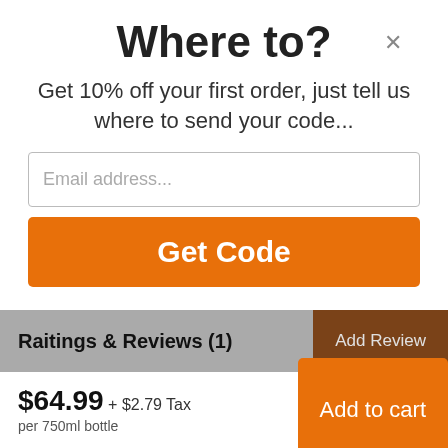Where to?
Get 10% off your first order, just tell us where to send your code...
Email address...
Get Code
Raitings & Reviews (1)
Add Review
$64.99 + $2.79 Tax per 750ml bottle
Add to cart